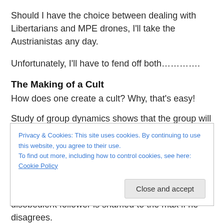Should I have the choice between dealing with Libertarians and MPE drones, I'll take the Austrianistas any day.
Unfortunately, I'll have to fend off both………….
The Making of a Cult
How does one create a cult? Why, that's easy!
Study of group dynamics shows that the group will automatically side with the Leader, because otherwise it's the end of the group.
Privacy & Cookies: This site uses cookies. By continuing to use this website, you agree to their use.
To find out more, including how to control cookies, see here: Cookie Policy
[Close and accept]
disobedient follower is shamed to the max if he disagrees.